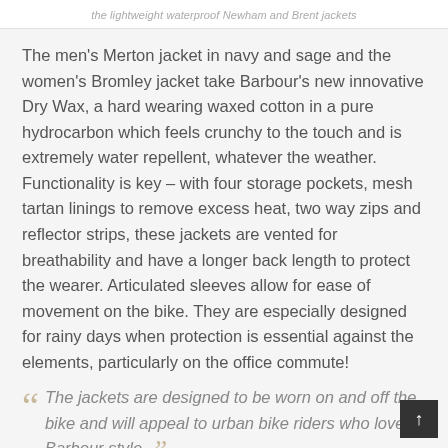the lightweight waterproof Newham and Brent jackets
The men’s Merton jacket in navy and sage and the women’s Bromley jacket take Barbour’s new innovative Dry Wax, a hard wearing waxed cotton in a pure hydrocarbon which feels crunchy to the touch and is extremely water repellent, whatever the weather. Functionality is key – with four storage pockets, mesh tartan linings to remove excess heat, two way zips and reflector strips, these jackets are vented for breathability and have a longer back length to protect the wearer. Articulated sleeves allow for ease of movement on the bike. They are especially designed for rainy days when protection is essential against the elements, particularly on the office commute!
The jackets are designed to be worn on and off the bike and will appeal to urban bike riders who love Barbour style